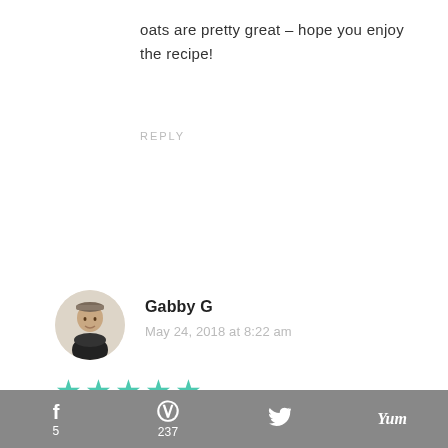oats are pretty great – hope you enjoy the recipe!
REPLY
[Figure (photo): Circular avatar photo of Gabby G, a woman with a headband]
Gabby G
May 24, 2018 at 8:22 am
[Figure (other): Five teal/turquoise filled star rating icons]
That looks so freaking good! I mean, I'd eat that for breakfast! haha
f 5   237   (twitter bird icon)   Yum